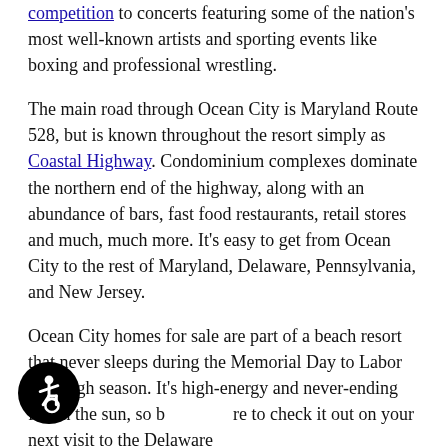competition to concerts featuring some of the nation's most well-known artists and sporting events like boxing and professional wrestling.
The main road through Ocean City is Maryland Route 528, but is known throughout the resort simply as Coastal Highway. Condominium complexes dominate the northern end of the highway, along with an abundance of bars, fast food restaurants, retail stores and much, much more. It's easy to get from Ocean City to the rest of Maryland, Delaware, Pennsylvania, and New Jersey.
Ocean City homes for sale are part of a beach resort that never sleeps during the Memorial Day to Labor Day high season. It's high-energy and never-ending fun in the sun, so be sure to check it out on your next visit to the Delaware shores.
[Figure (other): Accessibility icon: circular black button with white wheelchair user symbol]